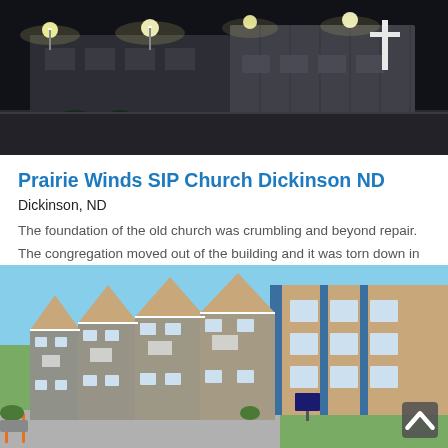[Figure (photo): Night photo of a church building with large cross and bright exterior lights, dark sky background]
Prairie Winds SIP Church Dickinson ND
Dickinson, ND
The foundation of the old church was crumbling and beyond repair. The congregation moved out of the building and it was torn down in June of 2017. They had an urgent need for a new church and building with SIP… read more
[Figure (photo): Daytime exterior photo of a multi-story residential apartment building with blue and tan siding, balconies, and a parking lot in front with orange bollards]